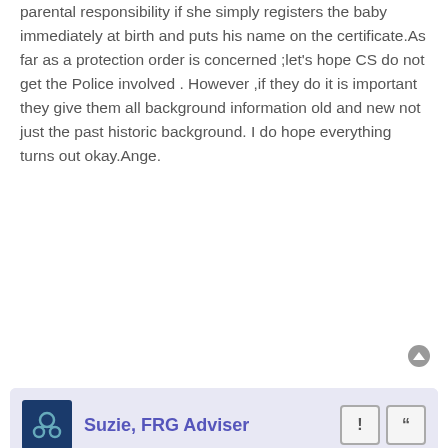parental responsibility if she simply registers the baby immediately at birth and puts his name on the certificate.As far as a protection order is concerned ;let's hope CS do not get the Police involved . However ,if they do it is important they give them all background information old and new not just the past historic background. I do hope everything turns out okay.Ange.
Suzie, FRG Adviser
Re: will it happen again?
Wed Dec 07, 2011 3:07 pm
That's no problem at all Ange. You're right, the law can be confusing and after all, that is what we are here for - to help everyone understand it better!
Thanks again for offering your support to other